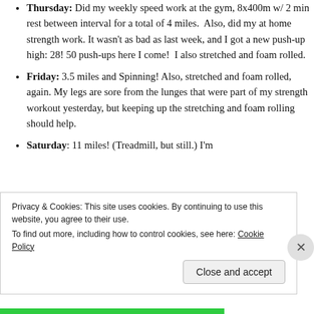Thursday: Did my weekly speed work at the gym, 8x400m w/ 2 min rest between interval for a total of 4 miles. Also, did my at home strength work. It wasn't as bad as last week, and I got a new push-up high: 28! 50 push-ups here I come! I also stretched and foam rolled.
Friday: 3.5 miles and Spinning! Also, stretched and foam rolled, again. My legs are sore from the lunges that were part of my strength workout yesterday, but keeping up the stretching and foam rolling should help.
Saturday: 11 miles! (Treadmill, but still.) I'm
Privacy & Cookies: This site uses cookies. By continuing to use this website, you agree to their use.
To find out more, including how to control cookies, see here: Cookie Policy